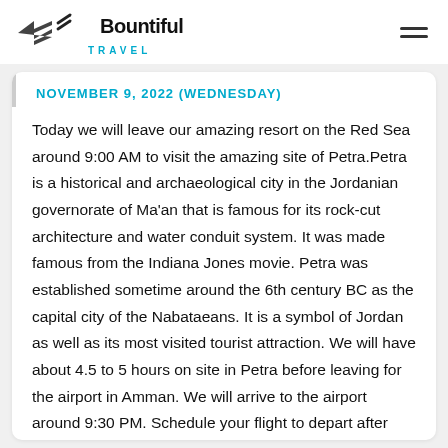Bountiful Travel
NOVEMBER 9, 2022 (WEDNESDAY)
Today we will leave our amazing resort on the Red Sea around 9:00 AM to visit the amazing site of Petra.Petra is a historical and archaeological city in the Jordanian governorate of Ma'an that is famous for its rock-cut architecture and water conduit system. It was made famous from the Indiana Jones movie. Petra was established sometime around the 6th century BC as the capital city of the Nabataeans. It is a symbol of Jordan as well as its most visited tourist attraction. We will have about 4.5 to 5 hours on site in Petra before leaving for the airport in Amman. We will arrive to the airport around 9:30 PM. Schedule your flight to depart after 11:00 PM.